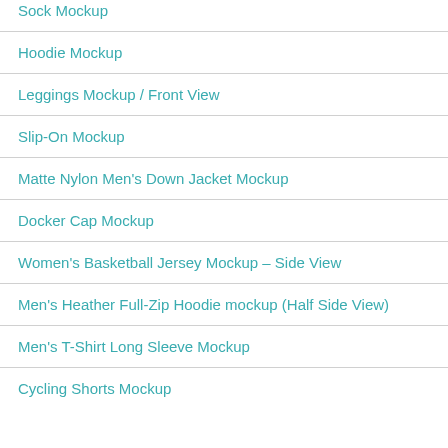Sock Mockup
Hoodie Mockup
Leggings Mockup / Front View
Slip-On Mockup
Matte Nylon Men's Down Jacket Mockup
Docker Cap Mockup
Women's Basketball Jersey Mockup – Side View
Men's Heather Full-Zip Hoodie mockup (Half Side View)
Men's T-Shirt Long Sleeve Mockup
Cycling Shorts Mockup